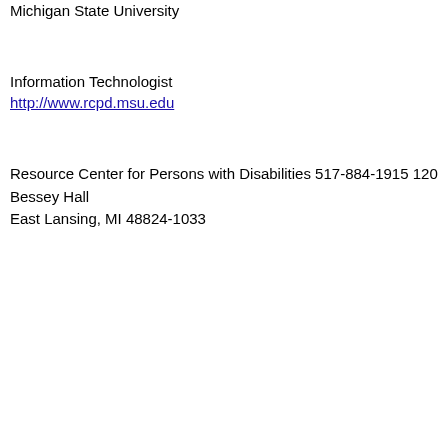Michigan State University
Information Technologist
http://www.rcpd.msu.edu
Resource Center for Persons with Disabilities 517-884-1915 120 Bessey Hall
East Lansing, MI 48824-1033